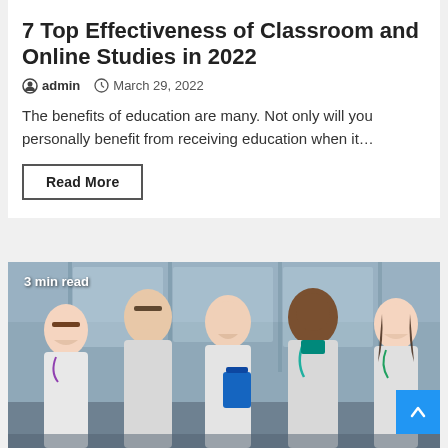7 Top Effectiveness of Classroom and Online Studies in 2022
admin   March 29, 2022
The benefits of education are many. Not only will you personally benefit from receiving education when it…
Read More
[Figure (photo): Group of five young medical students/doctors in white coats standing together in a hospital corridor, smiling at the camera. One holds a blue clipboard. Text overlay reads '3 min read'.]